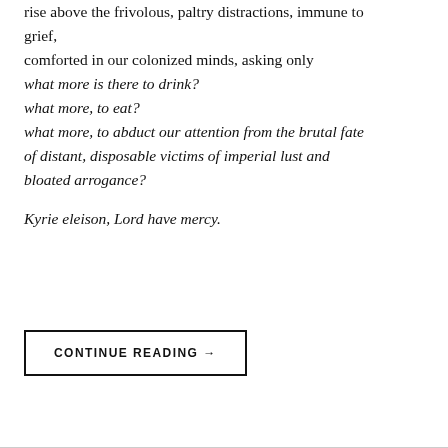rise above the frivolous, paltry distractions, immune to grief,
comforted in our colonized minds, asking only
what more is there to drink?
what more, to eat?
what more, to abduct our attention from the brutal fate of distant, disposable victims of imperial lust and bloated arrogance?

Kyrie eleison, Lord have mercy.
CONTINUE READING →